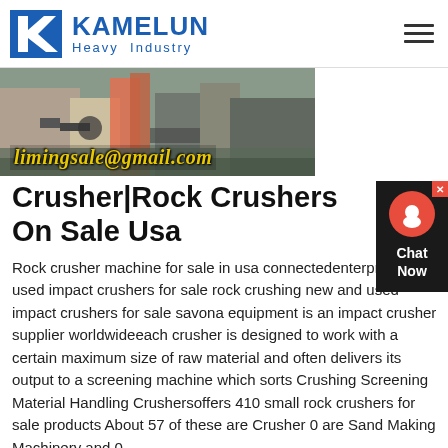[Figure (logo): Kamelun Heavy Industry logo with blue K icon and blue text]
[Figure (photo): Industrial crusher/rock crushing machinery at a facility, with email overlay 'limingsale@gmail.com']
Crusher|Rock Crushers On Sale Usa
Rock crusher machine for sale in usa connectedenterprisenl new used impact crushers for sale rock crushing new and used impact crushers for sale savona equipment is an impact crusher supplier worldwideeach crusher is designed to work with a certain maximum size of raw material and often delivers its output to a screening machine which sorts Crushing Screening Material Handling Crushersoffers 410 small rock crushers for sale products About 57 of these are Crusher 0 are Sand Making Machinery and 0